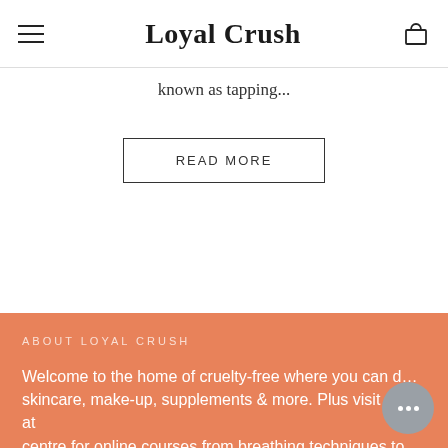Loyal Crush
known as tapping...
READ MORE
ABOUT LOYAL CRUSH
Welcome to the home of cruelty-free where you can discover skincare, make-up, supplements & more. Plus visit our retreat centre for online courses from breathing techniques to